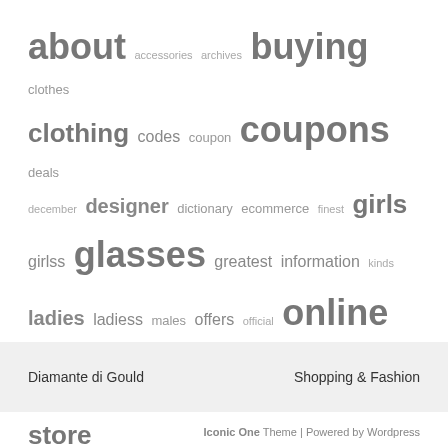[Figure (infographic): Tag cloud with shopping and fashion related keywords in various font sizes. Largest words: online, coupons, buying, watches, glasses, shopping, store. Medium: about, clothing, girls, ladies, purchasing, women, womens, websites. Smaller: accessories, archives, clothes, codes, coupon, deals, december, designer, dictionary, ecommerce, finest, girlss, greatest, information, kinds, ladiess, males, offers, official, prescription, procuring, promo, purchase, retailer, sites, style, styles, trend, twitter, watch.]
Diamante di Gould
Shopping & Fashion
Iconic One Theme | Powered by Wordpress